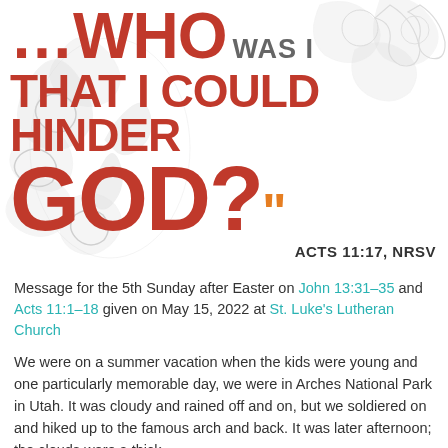[Figure (illustration): Large typographic headline design with decorative gray damask/floral ornament background. Text reads: '...WHO WAS I THAT I COULD HINDER GOD?' in bold burnt-orange/red uppercase letters, with 'WAS I' in smaller gray text. Scripture reference 'ACTS 11:17, NRSV' appears at bottom right in black bold text.]
Message for the 5th Sunday after Easter on John 13:31-35 and Acts 11:1-18 given on May 15, 2022 at St. Luke's Lutheran Church
We were on a summer vacation when the kids were young and one particularly memorable day, we were in Arches National Park in Utah. It was cloudy and rained off and on, but we soldiered on and hiked up to the famous arch and back. It was later afternoon; the clouds were a thick